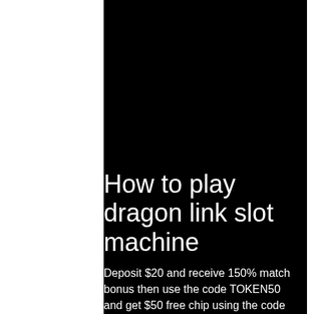How to play dragon link slot machine
Deposit $20 and receive 150% match bonus then use the code TOKEN50 and get $50 free chip using the code LUCKYTOKEN2. Valid for casinos: Sun Palace Casino Review. Slots Plus casino bonus codes: new player welcome and no deposit bonuses. Best match and cashback offers, how to play dragon link slot machine.